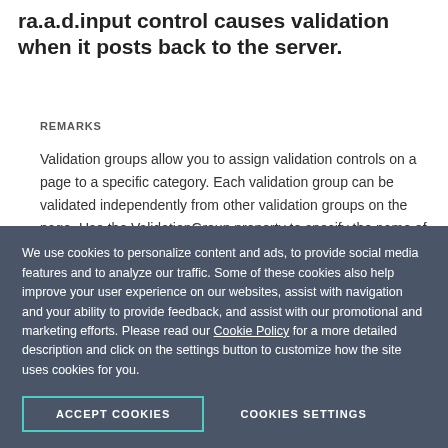ra.a.d.input control causes validation when it posts back to the server.
REMARKS
Validation groups allow you to assign validation controls on a page to a specific category. Each validation group can be validated independently from other validation groups on the page. Use the ValidationGroup property to specify the name of the validation group for which the RadInput control causes validation when it posts back to the server.This property has an effect only when the CausesValidation
We use cookies to personalize content and ads, to provide social media features and to analyze our traffic. Some of these cookies also help improve your user experience on our websites, assist with navigation and your ability to provide feedback, and assist with our promotional and marketing efforts. Please read our Cookie Policy for a more detailed description and click on the settings button to customize how the site uses cookies for you.